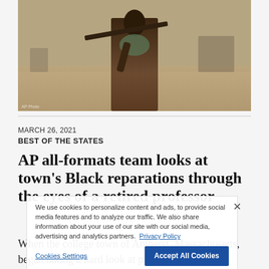[Figure (photo): A man carrying a rifle over his shoulder on a dusty street, wearing a patterned scarf/shawl]
MARCH 26, 2021
BEST OF THE STATES
AP all-formats team looks at town's Black reparations through the eyes of a retired professor
When the college town of Amherst, Massachusetts, began taking a hard look at paying reparations to Black residents, the AP's Boston bureau set about using it